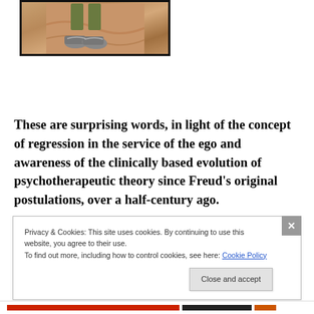[Figure (photo): Photo of a person's feet/lower legs in shorts and sneakers standing on a sandy/reddish terrain, framed with a thick black border.]
These are surprising words, in light of the concept of regression in the service of the ego and awareness of the clinically based evolution of psychotherapeutic theory since Freud's original postulations, over a half-century ago.
Privacy & Cookies: This site uses cookies. By continuing to use this website, you agree to their use.
To find out more, including how to control cookies, see here: Cookie Policy